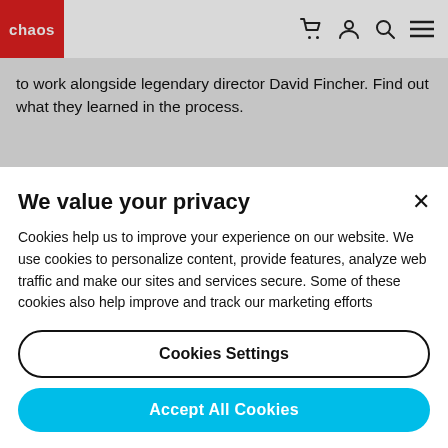chaos [logo] — navigation bar with cart, user, search, menu icons
to work alongside legendary director David Fincher. Find out what they learned in the process.
[Figure (other): Explore VFX button — rounded pill outline button]
We value your privacy
Cookies help us to improve your experience on our website. We use cookies to personalize content, provide features, analyze web traffic and make our sites and services secure. Some of these cookies also help improve and track our marketing efforts
Cookies Settings
Accept All Cookies